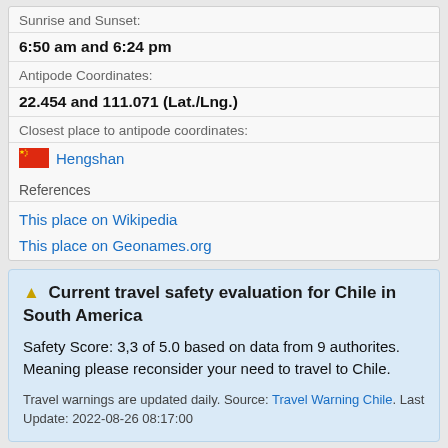Sunrise and Sunset:
6:50 am and 6:24 pm
Antipode Coordinates:
22.454 and 111.071 (Lat./Lng.)
Closest place to antipode coordinates:
Hengshan
References
This place on Wikipedia
This place on Geonames.org
⚠ Current travel safety evaluation for Chile in South America
Safety Score: 3,3 of 5.0 based on data from 9 authorites. Meaning please reconsider your need to travel to Chile.
Travel warnings are updated daily. Source: Travel Warning Chile. Last Update: 2022-08-26 08:17:00